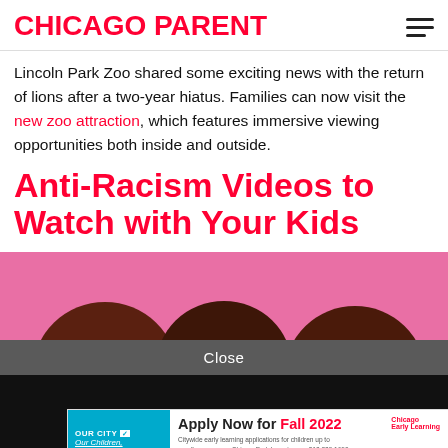CHICAGO PARENT
Lincoln Park Zoo shared some exciting news with the return of lions after a two-year hiatus. Families can now visit the new zoo attraction, which features immersive viewing opportunities both inside and outside.
Anti-Racism Videos to Watch with Your Kids
[Figure (illustration): Pink background with three dark brown head silhouettes of children viewed from behind, cropped at bottom]
Close
[Figure (infographic): Advertisement banner: Apply Now for Fall 2022 – Citywide early learning applications for children up to age five are open. ChicagoEarlyLearning.org 312.229.1690. Logos: Chicago Early Learning, star, CHI, and other city logos.]